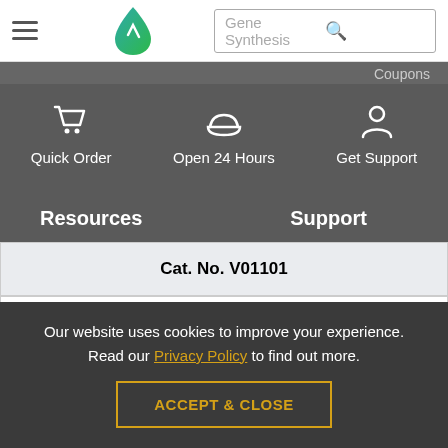Gene Synthesis [search bar with hamburger menu and logo]
Coupons
[Figure (infographic): Dark navigation bar with three icons: shopping cart (Quick Order), cloud (Open 24 Hours), person silhouette (Get Support)]
Resources    Support
| Cat. No. V01101 |  |  |
| --- | --- | --- |
| Size | Price | Status |
| 1 mg | Quote | IVD (Biological |
Our website uses cookies to improve your experience. Read our Privacy Policy to find out more.
ACCEPT & CLOSE